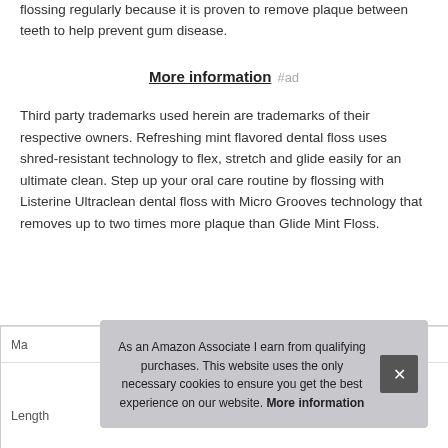flossing regularly because it is proven to remove plaque between teeth to help prevent gum disease.
More information #ad
Third party trademarks used herein are trademarks of their respective owners. Refreshing mint flavored dental floss uses shred-resistant technology to flex, stretch and glide easily for an ultimate clean. Step up your oral care routine by flossing with Listerine Ultraclean dental floss with Micro Grooves technology that removes up to two times more plaque than Glide Mint Floss.
| Ma |  |
| Length | 0.71 Inches |
As an Amazon Associate I earn from qualifying purchases. This website uses the only necessary cookies to ensure you get the best experience on our website. More information